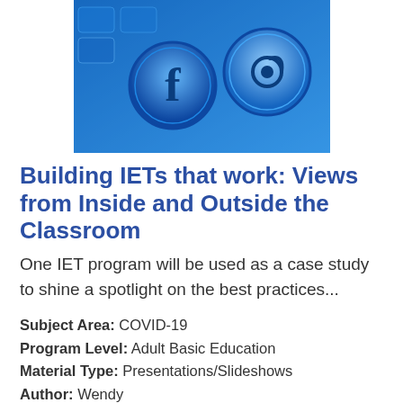[Figure (photo): Blue-toned photo of social media icons including Facebook and an @ email symbol on a keyboard or tech surface]
Building IETs that work: Views from Inside and Outside the Classroom
One IET program will be used as a case study to shine a spotlight on the best practices...
Subject Area: COVID-19
Program Level: Adult Basic Education
Material Type: Presentations/Slideshows
Author: Wendy Scheder Black; Mary Jo Chmielewski